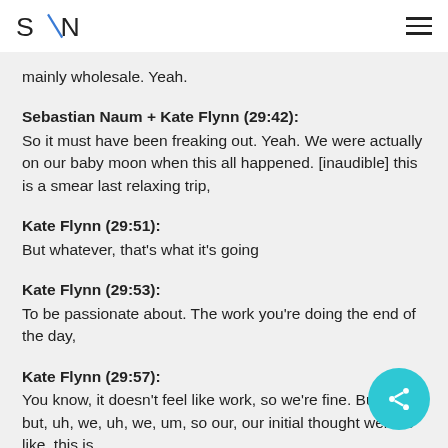S/N
mainly wholesale. Yeah.
Sebastian Naum + Kate Flynn (29:42):
So it must have been freaking out. Yeah. We were actually on our baby moon when this all happened. [inaudible] this is a smear last relaxing trip,
Kate Flynn (29:51):
But whatever, that's what it's going
Kate Flynn (29:53):
To be passionate about. The work you're doing the end of the day,
Kate Flynn (29:57):
You know, it doesn't feel like work, so we're fine. But, um, but, uh, we, uh, we, um, so our, our initial thought went to like, this is